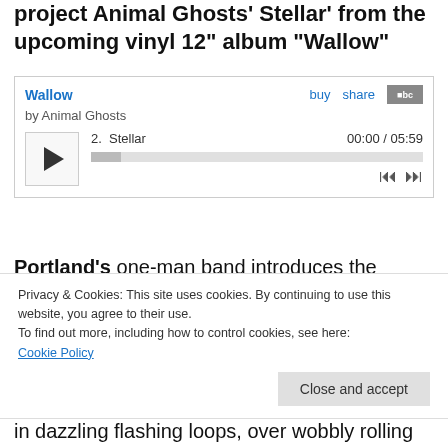project Animal Ghosts' Stellar' from the upcoming vinyl 12" album "Wallow"
[Figure (screenshot): Bandcamp music player widget showing album 'Wallow' by Animal Ghosts, track 2 Stellar, 00:00 / 05:59, with play button, progress bar, and skip controls]
Portland's one-man band introduces the upcoming full-length album in the finest way, chiselling an ever more intoxicating and refined dizzy alchemy of ecstatic bittersweet melodies along with
Privacy & Cookies: This site uses cookies. By continuing to use this website, you agree to their use.
To find out more, including how to control cookies, see here:
Cookie Policy
Close and accept
in dazzling flashing loops, over wobbly rolling